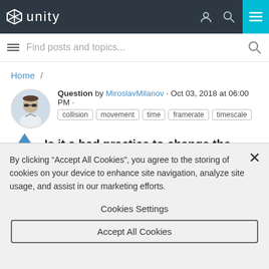Unity — navigation bar with logo, user icon, search icon, menu button
Find posts and topics...
Home /
Question by MiroslavMilanov · Oct 03, 2018 at 06:00 PM · collision movement time framerate timescale
Is it a bad practice to change the
By clicking "Accept All Cookies", you agree to the storing of cookies on your device to enhance site navigation, analyze site usage, and assist in our marketing efforts.
Cookies Settings
Accept All Cookies